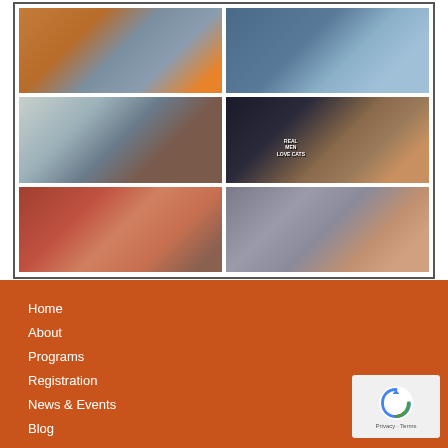[Figure (photo): A 2x3 grid of video screenshots showing children playing violin at home, likely from an online music class. Top left: child in orange shirt playing violin. Top right: child playing violin with blurred background. Middle left: two children in a living room with violins. Middle right: child in 'Real Men Love Cats' t-shirt playing violin. Bottom left: smiling boy playing violin. Bottom right: older boy playing violin enthusiastically.]
Home
About
Programs
Registration
News & Events
Blog
Contact